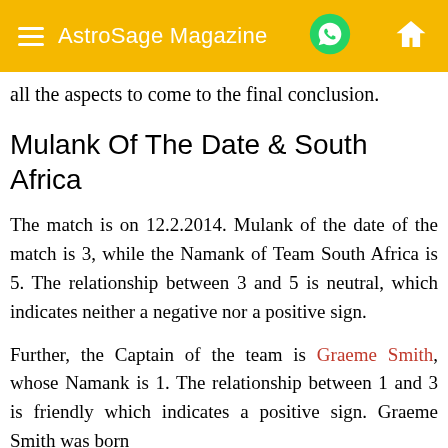AstroSage Magazine
all the aspects to come to the final conclusion.
Mulank Of The Date & South Africa
The match is on 12.2.2014. Mulank of the date of the match is 3, while the Namank of Team South Africa is 5. The relationship between 3 and 5 is neutral, which indicates neither a negative nor a positive sign.
Further, the Captain of the team is Graeme Smith, whose Namank is 1. The relationship between 1 and 3 is friendly which indicates a positive sign. Graeme Smith was born